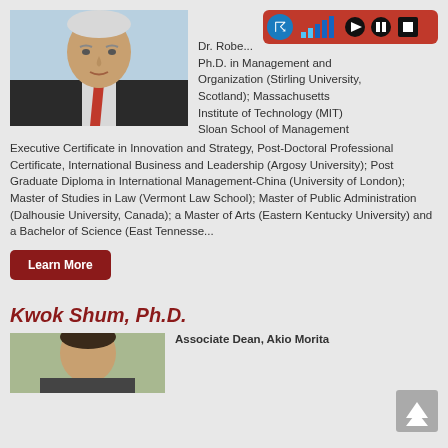[Figure (photo): Headshot of a middle-aged man in a dark suit with a red tie, against a light blue background]
Dr. Robe... Ph.D. in Management and Organization (Stirling University, Scotland); Massachusetts Institute of Technology (MIT) Sloan School of Management Executive Certificate in Innovation and Strategy, Post-Doctoral Professional Certificate, International Business and Leadership (Argosy University); Post Graduate Diploma in International Management-China (University of London); Master of Studies in Law (Vermont Law School); Master of Public Administration (Dalhousie University, Canada); a Master of Arts (Eastern Kentucky University) and a Bachelor of Science (East Tennesse...
[Figure (screenshot): Audio toolbar overlay with hearing icon, signal bars, play, pause and stop buttons on red background]
Learn More
Kwok Shum, Ph.D.
[Figure (photo): Partial headshot of a person, bottom portion only visible]
Associate Dean, Akio Morita